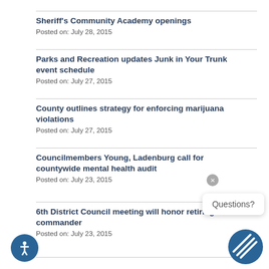Sheriff's Community Academy openings
Posted on: July 28, 2015
Parks and Recreation updates Junk in Your Trunk event schedule
Posted on: July 27, 2015
County outlines strategy for enforcing marijuana violations
Posted on: July 27, 2015
Councilmembers Young, Ladenburg call for countywide mental health audit
Posted on: July 23, 2015
6th District Council meeting will honor retiring JBLM commander
Posted on: July 23, 2015